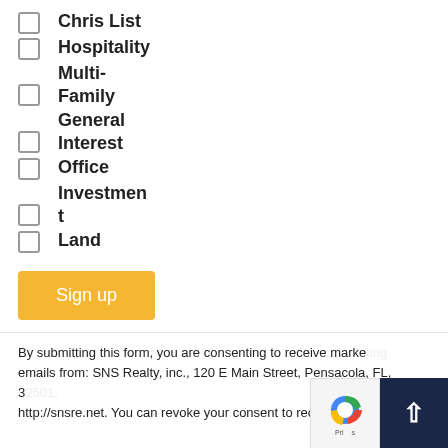Chris List
Hospitality
Multi-Family
General Interest
Office
Investment
Land
Sign up
By submitting this form, you are consenting to receive marketing emails from: SNS Realty, inc., 120 E Main Street, Pensacola, FL, http://snsre.net. You can revoke your consent to receive emails at